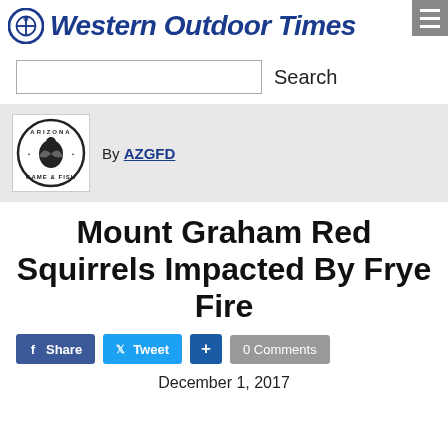Western Outdoor Times
Search
[Figure (logo): Arizona Game and Fish Department circular logo with bird illustration]
By AZGFD
Mount Graham Red Squirrels Impacted By Frye Fire
Share  Tweet  +  0 Comments
December 1, 2017